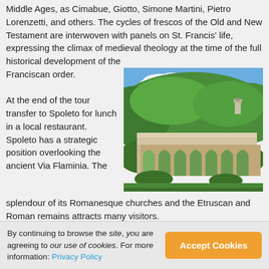Middle Ages, as Cimabue, Giotto, Simone Martini, Pietro Lorenzetti, and others. The cycles of frescos of the Old and New Testament are interwoven with panels on St. Francis' life, expressing the climax of medieval theology at the time of the full historical development of the Franciscan order. At the end of the tour transfer to Spoleto for lunch in a local restaurant. Spoleto has a strategic position overlooking the ancient Via Flaminia. The splendour of its Romanesque churches and the Etruscan and Roman remains attracts many visitors.
[Figure (photo): Photo of a large stone Roman aqueduct bridge with multiple arches, surrounded by dense green forested hills under a partly cloudy blue sky. A church tower is visible in the upper right background.]
By continuing to browse the site, you are agreeing to our use of cookies. For more information: Privacy Policy